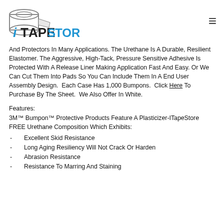[Figure (logo): iTapeStore logo with tape roll icon]
And Protectors In Many Applications. The Urethane Is A Durable, Resilient Elastomer. The Aggressive, High-Tack, Pressure Sensitive Adhesive Is Protected With A Release Liner Making Application Fast And Easy. Or We Can Cut Them Into Pads So You Can Include Them In A End User Assembly Design.  Each Case Has 1,000 Bumpons.  Click Here To Purchase By The Sheet.  We Also Offer In White.
Features:
3M™ Bumpon™ Protective Products Feature A Plasticizer-ITapeStore FREE Urethane Composition Which Exhibits:
Excellent Skid Resistance
Long Aging Resiliency Will Not Crack Or Harden
Abrasion Resistance
Resistance To Marring And Staining